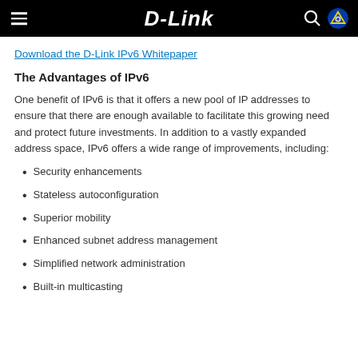D-Link
Download the D-Link IPv6 Whitepaper
The Advantages of IPv6
One benefit of IPv6 is that it offers a new pool of IP addresses to ensure that there are enough available to facilitate this growing need and protect future investments. In addition to a vastly expanded address space, IPv6 offers a wide range of improvements, including:
Security enhancements
Stateless autoconfiguration
Superior mobility
Enhanced subnet address management
Simplified network administration
Built-in multicasting